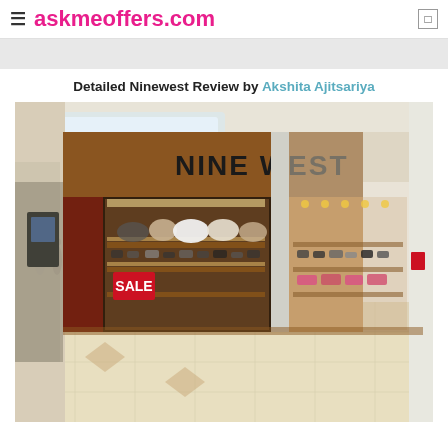askmeoffers.com
Detailed Ninewest Review by Akshita Ajitsariya
[Figure (photo): Interior mall photo of a Nine West store front with 'NINE WEST' sign, display windows showing shoes and handbags, a red SALE sign, tiled mall floor, shoppers in background]